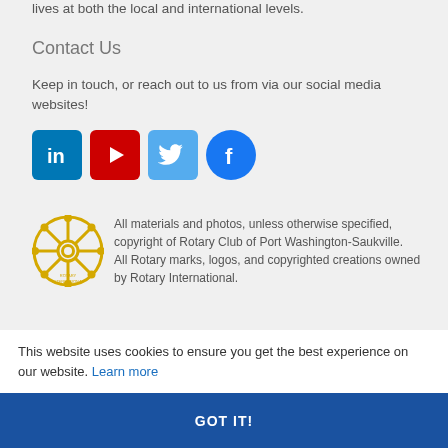lives at both the local and international levels.
Contact Us
Keep in touch, or reach out to us from via our social media websites!
[Figure (illustration): Four social media icons: LinkedIn (blue square), YouTube (red square with play button), Twitter (light blue square with bird), Facebook (blue circle with f logo)]
[Figure (logo): Rotary International gear wheel logo in gold/yellow]
All materials and photos, unless otherwise specified, copyright of Rotary Club of Port Washington-Saukville. All Rotary marks, logos, and copyrighted creations owned by Rotary International.
This website uses cookies to ensure you get the best experience on our website. Learn more
GOT IT!